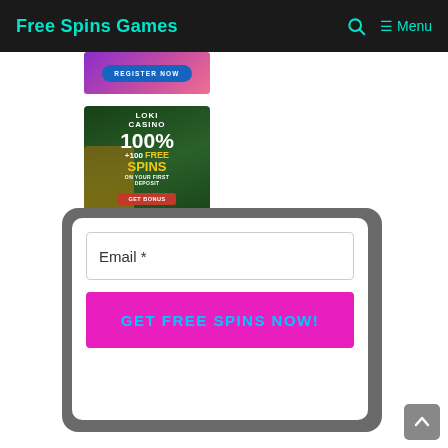Free Spins Games  🔍  ☰ Menu
[Figure (screenshot): Banner with purple/pink gradient background and 'REGISTER NOW' blue button]
[Figure (screenshot): Loki Casino banner: green background with tiki mask, '100% +100 FREE SPINS on your first deposit' offer and 'GET BONUS' red button]
[Figure (screenshot): 7Bit Casino banner with dark blue background and '20' number partially visible]
[Figure (screenshot): Email subscription popup with grey rounded rectangle overlay, white card containing email input field and 'GET FREE SPINS NOW!' magenta button]